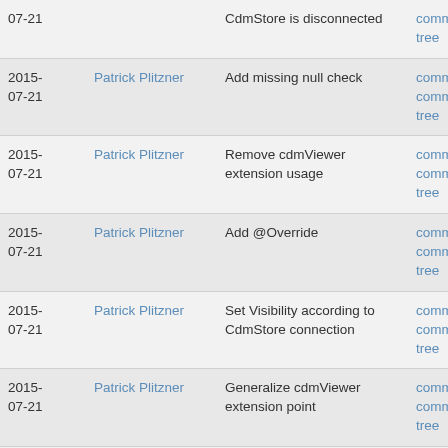| Date | Author | Message | Links |
| --- | --- | --- | --- |
| 2015-07-21 | Patrick Plitzner | CdmStore is disconnected | commit | commitdiff | tree |
| 2015-07-21 | Patrick Plitzner | Add missing null check | commit | commitdiff | tree |
| 2015-07-21 | Patrick Plitzner | Remove cdmViewer extension usage | commit | commitdiff | tree |
| 2015-07-21 | Patrick Plitzner | Add @Override | commit | commitdiff | tree |
| 2015-07-21 | Patrick Plitzner | Set Visibility according to CdmStore connection | commit | commitdiff | tree |
| 2015-07-21 | Patrick Plitzner | Generalize cdmViewer extension point | commit | commitdiff | tree |
| 2015-07-21 | Patrick Plitzner | Enhance handling of simple and advanced media view | commit | commitdiff | tree |
| 2015- | Patrick Plitzner | Change color when error | commit | |